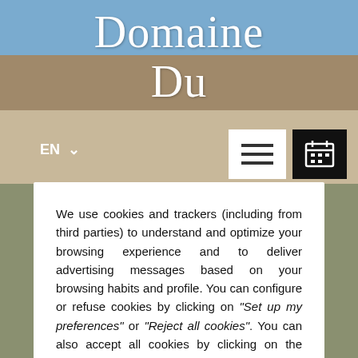[Figure (screenshot): Background photo of a French château/domaine with stone roof tiles, blue sky, and courtyard. Website header shows 'Domaine Du' text in white serif font, a language selector 'EN' with dropdown arrow, a hamburger menu button, and a calendar icon button.]
We use cookies and trackers (including from third parties) to understand and optimize your browsing experience and to deliver advertising messages based on your browsing habits and profile. You can configure or refuse cookies by clicking on "Set up my preferences" or "Reject all cookies". You can also accept all cookies by clicking on the "Accept All Cookies" button. For more information, you can read our Privacy Policy.
Reject all cookies
Set up my preferences
Accept all cookies